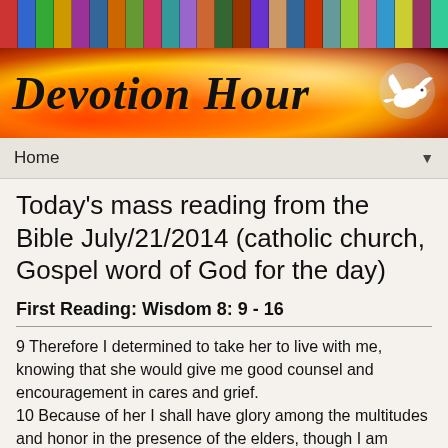[Figure (illustration): Colorful bookshelf banner at top of page showing book spines in various colors]
[Figure (illustration): Fire/flame banner with 'Devotion Hour' text in italic script and a white dove on the right side]
Home ▼
Today's mass reading from the Bible July/21/2014 (catholic church, Gospel word of God for the day)
First Reading: Wisdom 8: 9 - 16
9 Therefore I determined to take her to live with me, knowing that she would give me good counsel and encouragement in cares and grief.
10 Because of her I shall have glory among the multitudes and honor in the presence of the elders, though I am young.
11 I shall be found keen in judgment, and in the sight of rulers I shall be admired.
12 When I am silent they will wait for me, and when I speak they